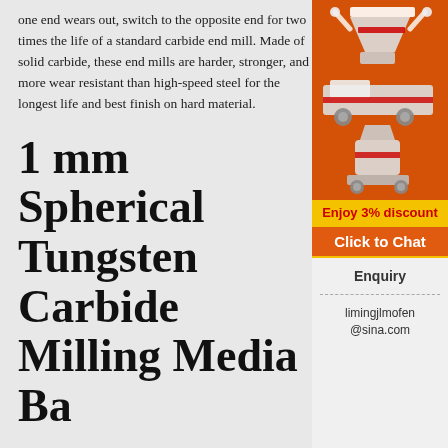one end wears out, switch to the opposite end for two times the life of a standard carbide end mill. Made of solid carbide, these end mills are harder, stronger, and more wear resistant than high-speed steel for the longest life and best finish on hard material.
1 mm Spherical Tungsten Carbide Milling Media Ba
•••
1 mm Spherical Tungsten Carbide Milling Balls (Polished) Order qty. units: 10 balls, 100 balls, 1000 balls, 10000 balls, or 1000 g Density: 14 Shape: Spherical Character: Excellent abrasion resistance for ball milling of hard materials. Tungsten Carbide
[Figure (illustration): Orange sidebar advertisement showing industrial milling/crushing machinery in white on orange background, with 'Enjoy 3% discount' in yellow bar, 'Click to Chat' button, Enquiry section, and email limingjlmofen@sina.com]